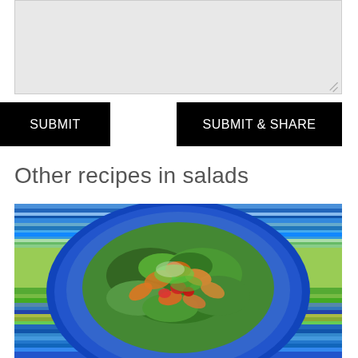[Figure (screenshot): Gray textarea input box with resize handle at bottom right corner]
SUBMIT
SUBMIT & SHARE
Other recipes in salads
[Figure (photo): A plate of shrimp salad with greens, tomatoes, and herbs on a blue plate, shown on a colorful striped background]